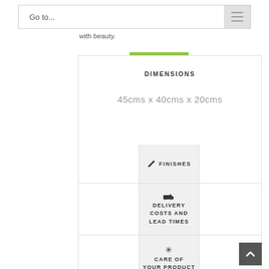Go to...
with beauty.
DIMENSIONS
45cms x 40cms x 20cms
FINISHES
DELIVERY COSTS AND LEAD TIMES
CARE OF YOUR PRODUCT